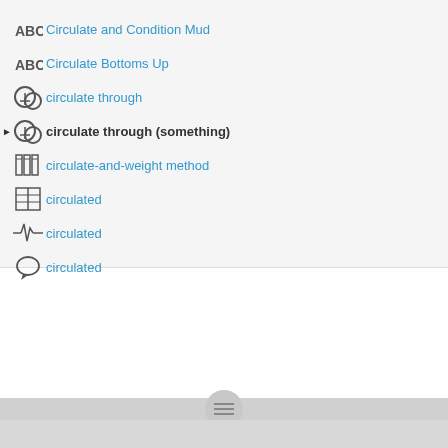Circulate and Condition Mud
Circulate Bottoms Up
circulate through
circulate through (something)
circulate-and-weight method
circulated
circulated
circulated